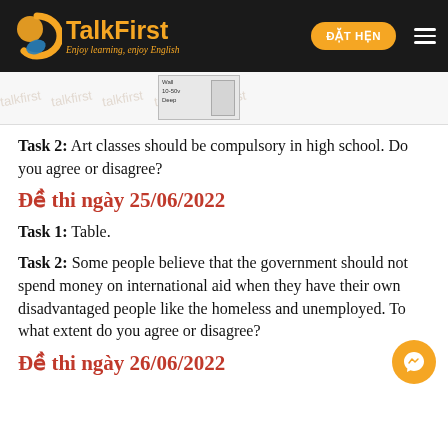TalkFirst — Enjoy learning, enjoy English | ĐẶT HẸN
[Figure (screenshot): Partial screenshot of a table or diagram with labels 'Wall', '10-50v', 'Deep']
Task 2: Art classes should be compulsory in high school. Do you agree or disagree?
Đề thi ngày 25/06/2022
Task 1: Table.
Task 2: Some people believe that the government should not spend money on international aid when they have their own disadvantaged people like the homeless and unemployed. To what extent do you agree or disagree?
Đề thi ngày 26/06/2022